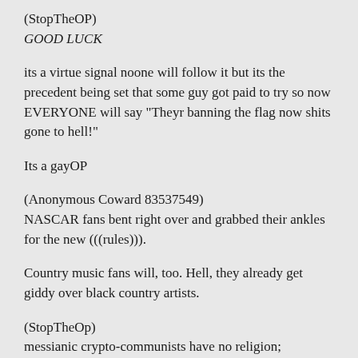(StopTheOP)
GOOD LUCK
its a virtue signal noone will follow it but its the precedent being set that some guy got paid to try so now EVERYONE will say "Theyr banning the flag now shits gone to hell!"
Its a gayOP
(Anonymous Coward 83537549)
NASCAR fans bent right over and grabbed their ankles for the new (((rules))).
Country music fans will, too. Hell, they already get giddy over black country artists.
(StopTheOp)
messianic crypto-communists have no religion; scapegoating